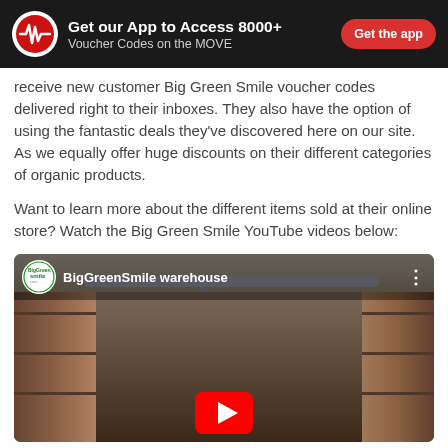Get our App to Access 8000+ Voucher Codes on the MOVE | Get the app
receive new customer Big Green Smile voucher codes delivered right to their inboxes. They also have the option of using the fantastic deals they've discovered here on our site. As we equally offer huge discounts on their different categories of organic products.
Want to learn more about the different items sold at their online store? Watch the Big Green Smile YouTube videos below:
[Figure (screenshot): YouTube video thumbnail showing BigGreenSmile warehouse interior with shelving and boxes, with a YouTube play button overlay. Video title bar shows BigGreen Smile logo and text 'BigGreenSmile warehouse'.]